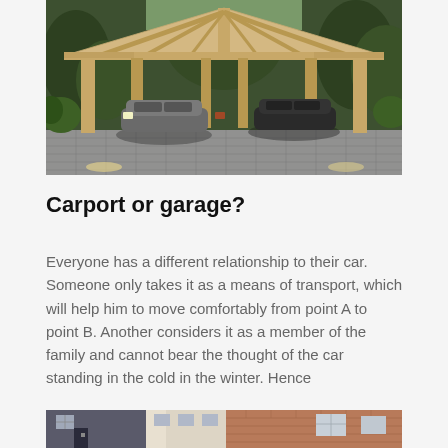[Figure (photo): A wooden open carport structure with a peaked roof supported by timber beams, housing two dark-colored cars parked on a patterned stone driveway, surrounded by green trees and shrubs.]
Carport or garage?
Everyone has a different relationship to their car. Someone only takes it as a means of transport, which will help him to move comfortably from point A to point B. Another considers it as a member of the family and cannot bear the thought of the car standing in the cold in the winter. Hence
[Figure (photo): Partial view of a street with residential buildings, showing brick facades and windows.]